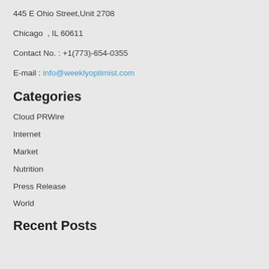445 E Ohio Street,Unit 2708
Chicago  , IL 60611
Contact No. : +1(773)-654-0355
E-mail : info@weeklyoptimist.com
Categories
Cloud PRWire
Internet
Market
Nutrition
Press Release
World
Recent Posts